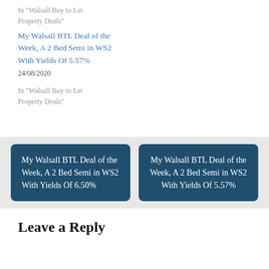In "Walsall Buy to Let Property Deals"
My Walsall BTL Deal of the Week, A 2 Bed Semi in WS2 With Yields Of 5.57%
24/08/2020
In "Walsall Buy to Let Property Deals"
My Walsall BTL Deal of the Week, A 2 Bed Semi in WS2 With Yields Of 6.50%
My Walsall BTL Deal of the Week, A 2 Bed Semi in WS2 With Yields Of 5.57%
Leave a Reply